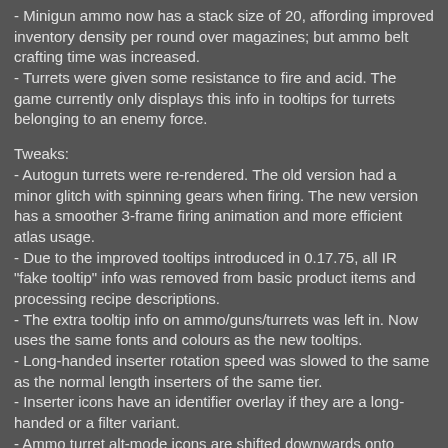- Minigun ammo now has a stack size of 20, affording improved inventory density per round over magazines; but ammo belt crafting time was increased.
- Turrets were given some resistance to fire and acid. The game currently only displays this info in tooltips for turrets belonging to an enemy force.
Tweaks:
- Autogun turrets were re-rendered. The old version had a minor glitch with spinning gears when firing. The new version has a smoother 3-frame firing animation and more efficient atlas usage.
- Due to the improved tooltips introduced in 0.17.75, all IR "fake tooltip" info was removed from basic product items and processing recipe descriptions.
- The extra tooltip info on ammo/guns/turrets was left in. Now uses the same fonts and colours as the new tooltips.
- Long-handed inserter rotation speed was slowed to the same as the normal length inserters of the same tier.
- Inserter icons have an identifier overlay if they are a long-handed or a filter variant.
- Ammo turret alt-mode icons are shifted downwards onto